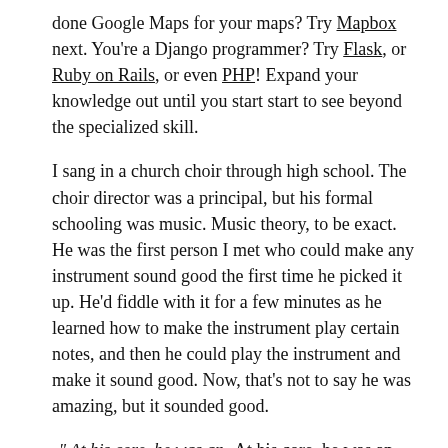done Google Maps for your maps? Try Mapbox next. You're a Django programmer? Try Flask, or Ruby on Rails, or even PHP! Expand your knowledge out until you start start to see beyond the specialized skill.
I sang in a church choir through high school. The choir director was a principal, but his formal schooling was music. Music theory, to be exact. He was the first person I met who could make any instrument sound good the first time he picked it up. He'd fiddle with it for a few minutes as he learned how to make the instrument play certain notes, and then he could play the instrument and make it sound good. Now, that's not to say he was amazing, but it sounded good.
" At his core, he was an expert at music ... The very best programmers I've | At his core, he was an expert at music. Not an expert pianist, or guitar player, but music. The very best programmers I've ever known are all expert